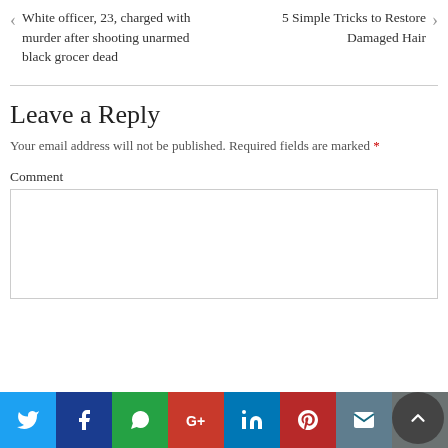White officer, 23, charged with murder after shooting unarmed black grocer dead
5 Simple Tricks to Restore Damaged Hair
Leave a Reply
Your email address will not be published. Required fields are marked *
Comment